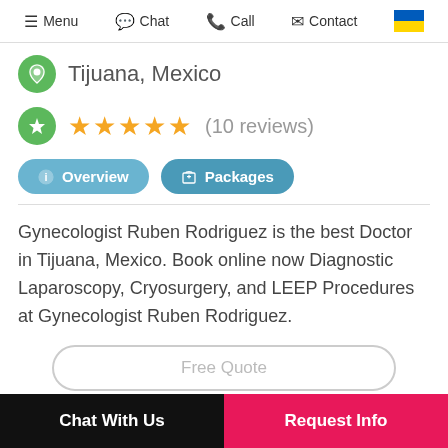Menu  Chat  Call  Contact
Tijuana, Mexico
★★★★★ (10 reviews)
Overview  Packages
Gynecologist Ruben Rodriguez is the best Doctor in Tijuana, Mexico. Book online now Diagnostic Laparoscopy, Cryosurgery, and LEEP Procedures at Gynecologist Ruben Rodriguez.
Chat With Us  |  Request Info